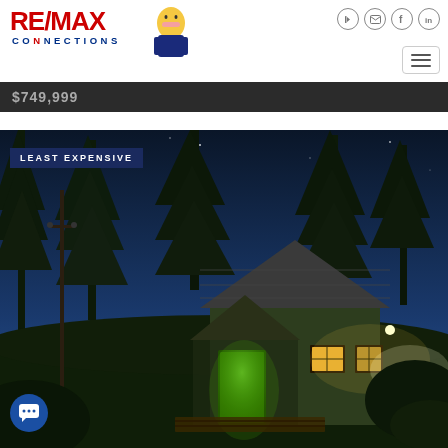RE/MAX CONNECTIONS — navigation bar with logo and social icons
$749,999
[Figure (photo): Exterior night photo of a small cabin-style house with illuminated windows, pitched roof with shingles, surrounded by tall pine trees against a blue twilight sky. Badge reads LEAST EXPENSIVE.]